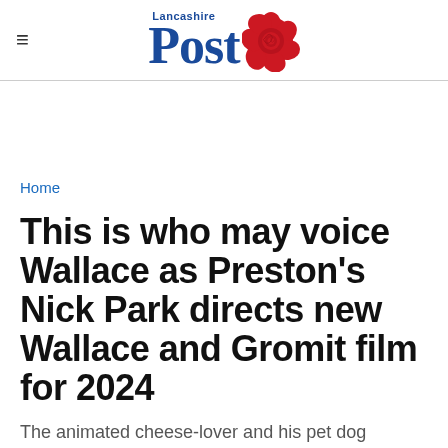Lancashire Post
Home
This is who may voice Wallace as Preston's Nick Park directs new Wallace and Gromit film for 2024
The animated cheese-lover and his pet dog